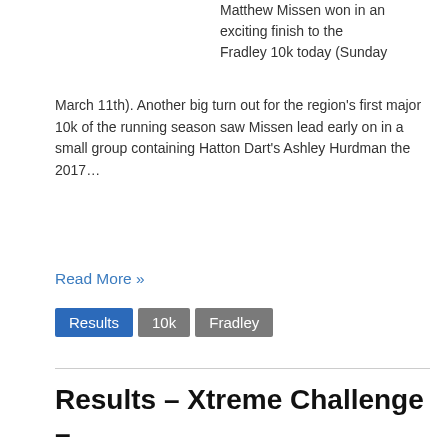Matthew Missen won in an exciting finish to the Fradley 10k today (Sunday March 11th). Another big turn out for the region's first major 10k of the running season saw Missen lead early on in a small group containing Hatton Dart's Ashley Hurdman the 2017…
Read More »
Results
10k
Fradley
Results – Xtreme Challenge – 25th Feb 2018
CARNEY CONQUERS CATTON CHALLENGE Today's (February 25th) Xtreme Challenge at Catton Hall